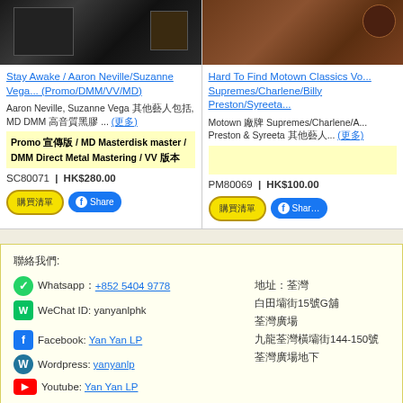[Figure (photo): Product photo of Stay Awake album - dark colored box/record set]
Stay Awake / Aaron Neville/Suzanne Vega... (Promo/DMM/VV/MD)
Aaron Neville, Suzanne Vega 其他藝人包括, MD DMM 高音質黑膠 ... (更多)
Promo 宣傳版 / MD Masterdisk master / DMM Direct Metal Mastering / VV 版本
SC80071 | HK$280.00
[Figure (photo): Product photo of Hard To Find Motown Classics album]
Hard To Find Motown Classics Vo... Supremes/Charlene/Billy Preston/Syreeta...
Motown 廠牌 Supremes/Charlene/A... Preston & Syreeta 其他藝人... (更多)
PM80069 | HK$100.00
聯絡我們:
Whatsapp：+852 5404 9778
WeChat ID: yanyanlphk
Facebook: Yan Yan LP
Wordpress: yanyanlp
Youtube: Yan Yan LP
地址：荃灣 白田壩街15號G舖 荃灣廣場 九龍荃灣橫壩街144-150號 荃灣廣場地下